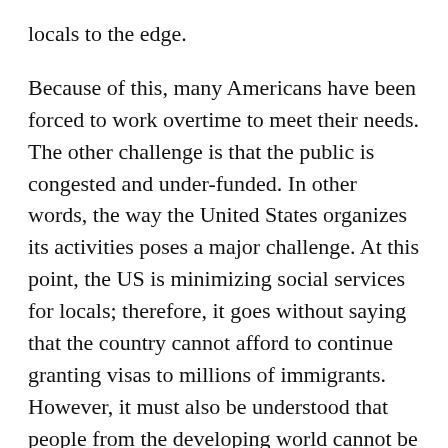locals to the edge.
Because of this, many Americans have been forced to work overtime to meet their needs. The other challenge is that the public is congested and under-funded. In other words, the way the United States organizes its activities poses a major challenge. At this point, the US is minimizing social services for locals; therefore, it goes without saying that the country cannot afford to continue granting visas to millions of immigrants. However, it must also be understood that people from the developing world cannot be blamed or even be associated with any bad thing, mainly for wanting to better their lives in the United States.
Some of these people usually come from backgrounds that are less privileged and hapless (Correa-Cabrera and Rojas-Arenaza, 300-305). But the world should [Check the price of your paper →] offered more than